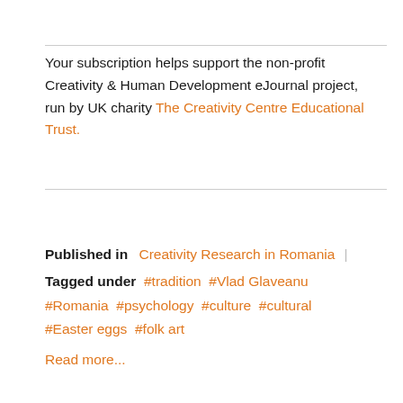Your subscription helps support the non-profit Creativity & Human Development eJournal project, run by UK charity The Creativity Centre Educational Trust.
Published in  Creativity Research in Romania
Tagged under  #tradition  #Vlad Glaveanu  #Romania  #psychology  #culture  #cultural  #Easter eggs  #folk art
Read more...